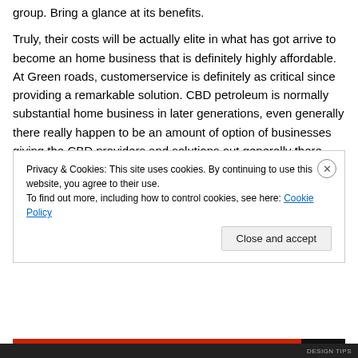group. Bring a glance at its benefits.
Truly, their costs will be actually elite in what has got arrive to become an home business that is definitely highly affordable. At Green roads, customerservice is definitely as critical since providing a remarkable solution. CBD petroleum is normally substantial home business in later generations, even generally there really happen to be an amount of option of businesses giving the CBD providers and solutions out generally there.
What You Should Accomplish About
Privacy & Cookies: This site uses cookies. By continuing to use this website, you agree to their use.
To find out more, including how to control cookies, see here: Cookie Policy
Close and accept